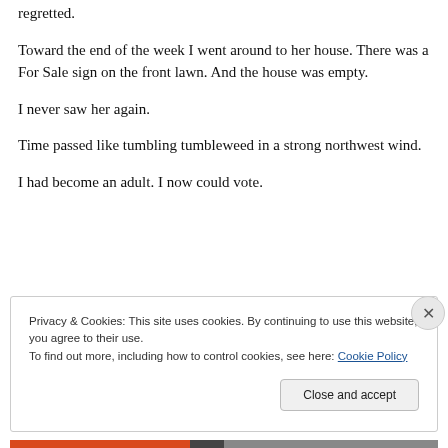regretted.
Toward the end of the week I went around to her house. There was a For Sale sign on the front lawn. And the house was empty.
I never saw her again.
Time passed like tumbling tumbleweed in a strong northwest wind.
I had become an adult. I now could vote.
Privacy & Cookies: This site uses cookies. By continuing to use this website, you agree to their use.
To find out more, including how to control cookies, see here: Cookie Policy
Close and accept